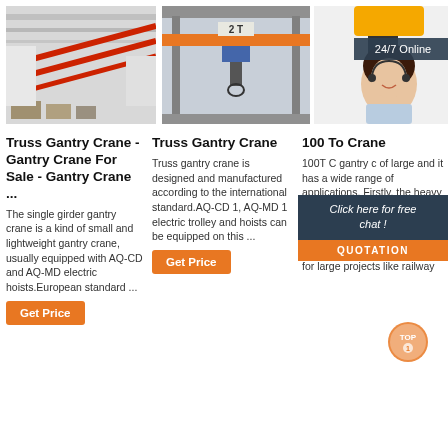[Figure (photo): Interior of a warehouse with red overhead gantry crane beams]
[Figure (photo): Yellow 2T truss gantry crane inside industrial building]
[Figure (photo): Yellow crane machinery close-up with 24/7 Online banner and customer service representative]
Truss Gantry Crane - Gantry Crane For Sale - Gantry Crane ...
The single girder gantry crane is a kind of small and lightweight gantry crane, usually equipped with AQ-CD and AQ-MD electric hoists.European standard ...
Truss Gantry Crane
Truss gantry crane is designed and manufactured according to the international standard.AQ-CD 1, AQ-MD 1 electric trolley and hoists can be equipped on this ...
[Figure (other): Get Price orange button]
100 To Crane
100T C gantry c of large and it has a wide range of applications. Firstly, the heavy duty gantry crane is extensively applied in the construction site or for lifting bu materials. Besides, it is used for large projects like railway
[Figure (other): Click here for free chat! popup banner with QUOTATION button]
[Figure (other): TOP icon badge bottom right]